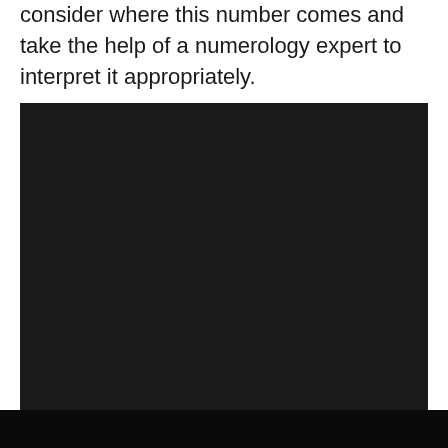consider where this number comes and take the help of a numerology expert to interpret it appropriately.
[Figure (photo): Large dark/black rectangular image block, nearly solid black]